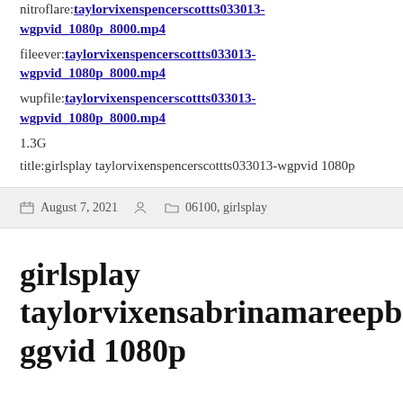nitroflare:taylorvixenspencerscottts033013-wgpvid_1080p_8000.mp4
fileever:taylorvixenspencerscottts033013-wgpvid_1080p_8000.mp4
wupfile:taylorvixenspencerscottts033013-wgpvid_1080p_8000.mp4
1.3G
title:girlsplay taylorvixenspencerscottts033013-wgpvid 1080p
August 7, 2021    06100, girlsplay
girlsplay taylorvixensabrinamareepb101ggvid 1080p